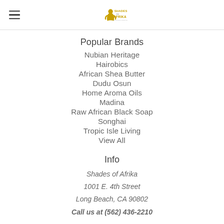Shades of Afrika logo and navigation
Popular Brands
Nubian Heritage
Hairobics
African Shea Butter
Dudu Osun
Home Aroma Oils
Madina
Raw African Black Soap
Songhai
Tropic Isle Living
View All
Info
Shades of Afrika
1001 E. 4th Street
Long Beach, CA 90802
Call us at (562) 436-2210